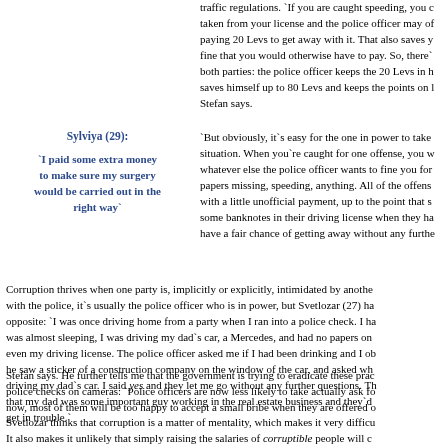traffic regulations. `If you are caught speeding, you can have points taken from your license and the police officer may offer you the option of paying 20 Levs to get away with it. That also saves you from a larger fine that you would otherwise have to pay. So, there`s a benefit for both parties: the police officer keeps the 20 Levs in his pocket and saves himself up to 80 Levs and keeps the points on his license,` Stefan says.
Sylviya (29):
`I paid some extra money to make sure my surgery would be carried out in the right way`
`But obviously, it`s easy for the one in power to take advantage of the situation. When you`re caught for one offense, you will get fined for whatever else the police officer wants to fine you for, whether it`s papers missing, speeding, anything. All of the offenses can be solved with a little unofficial payment, up to the point that some people put some banknotes in their driving license when they hand it over, and have a fair chance of getting away without any further questioning,` Stefan says. He further tells me that the government is trying to eradicate these practices by placing police checks on cameras: `Police officers are now less likely to take actually ask for bribes but even now, most of them will be too happy to accept a small bribe when they are offered one.`
Corruption thrives when one party is, implicitly or explicitly, intimidated by another. In the case with the police, it`s usually the police officer who is in power, but Svetlozar (27) has experienced the opposite: `I was once driving home from a party when I ran into a police check. I had been drinking, I was almost sleeping, I was driving my dad`s car, a Mercedes, and had no papers on me, not even my driving license. The police officer asked me if I had been drinking and I obviously said no, he saw a sticker of a construction company on the window of the car, and asked whether I was driving my dad`s car. I said yes and they let me go without any further questions. They assumed that my dad was some important guy working in the real estate business and they`d be too afraid to get in trouble.`
Svetlozar thinks that corruption is a matter of mentality, which makes it very difficult to change. It also makes it unlikely that simply raising the salaries of corruptible people will change them from corrupt. `We have had poor politicians who were corrupt, but we have had just as m